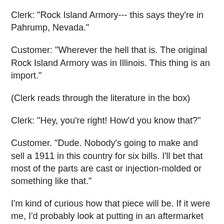Clerk: "Rock Island Armory--- this says they're in Pahrump, Nevada."
Customer: "Wherever the hell that is. The original Rock Island Armory was in Illinois. This thing is an import."
(Clerk reads through the literature in the box)
Clerk: "Hey, you're right! How'd you know that?"
Customer. "Dude. Nobody's going to make and sell a 1911 in this country for six bills. I'll bet that most of the parts are cast or injection-molded or something like that."
I'm kind of curious how that piece will be. If it were me, I'd probably look at putting in an aftermarket (forged) slide stop and extractor.
But I did get in some range time today, first in too long, with my 1911: